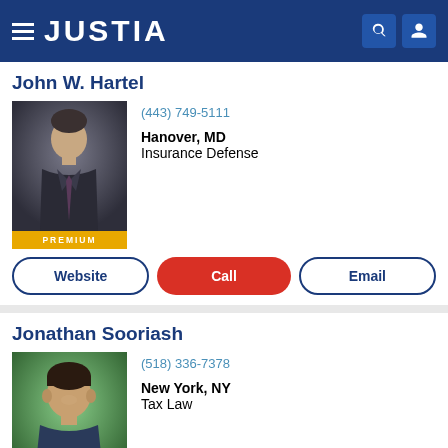JUSTIA
John W. Hartel
(443) 749-5111
Hanover, MD
Insurance Defense
PREMIUM
Website | Call | Email
Jonathan Sooriash
(518) 336-7378
New York, NY
Tax Law
PREMIUM
Website | Call | Email